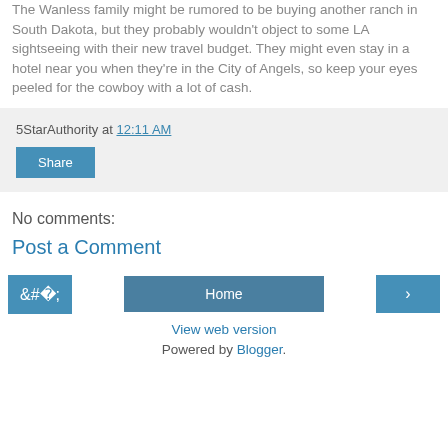The Wanless family might be rumored to be buying another ranch in South Dakota, but they probably wouldn't object to some LA sightseeing with their new travel budget. They might even stay in a hotel near you when they're in the City of Angels, so keep your eyes peeled for the cowboy with a lot of cash.
5StarAuthority at 12:11 AM
Share
No comments:
Post a Comment
Home
View web version
Powered by Blogger.